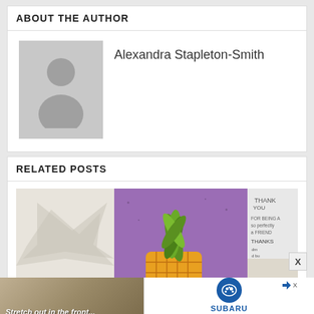ABOUT THE AUTHOR
[Figure (illustration): Grey placeholder avatar silhouette icon]
Alexandra Stapleton-Smith
RELATED POSTS
[Figure (photo): Collage of crafting cards showing pineapple design on purple background, thank you card, and white flower/butterfly card]
[Figure (photo): Subaru advertisement banner: car interior with text 'Stretch out in the front...' and Subaru logo with Explore button]